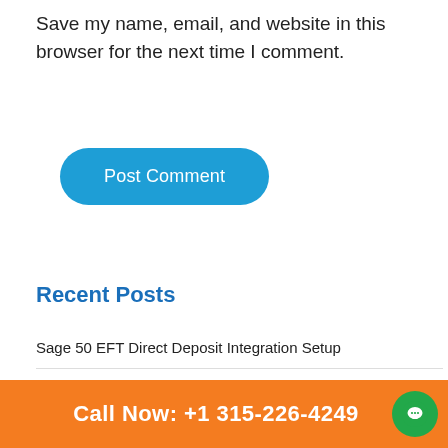Save my name, email, and website in this browser for the next time I comment.
[Figure (other): Blue rounded rectangle button labeled 'Post Comment']
Recent Posts
Sage 50 EFT Direct Deposit Integration Setup
How To Resolve Sage 50 Error 1609
How Do I Share A Company Data File On Sage Drive
Sage 50 Balance Sheet Out Of Balance
Call Now: +1 315-226-4249